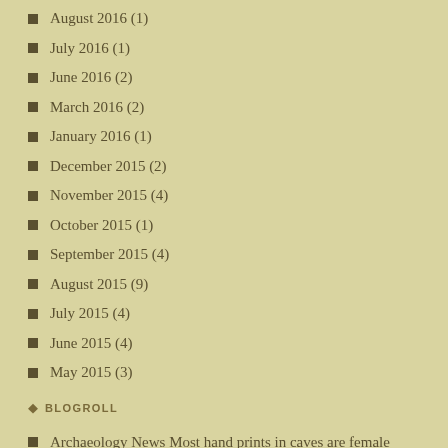August 2016 (1)
July 2016 (1)
June 2016 (2)
March 2016 (2)
January 2016 (1)
December 2015 (2)
November 2015 (4)
October 2015 (1)
September 2015 (4)
August 2015 (9)
July 2015 (4)
June 2015 (4)
May 2015 (3)
BLOGROLL
Archaeology News Most hand prints in caves are female